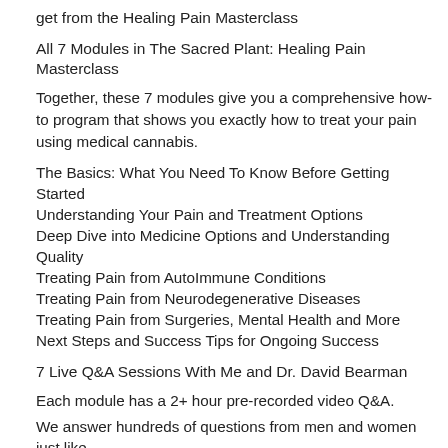get from the Healing Pain Masterclass
All 7 Modules in The Sacred Plant: Healing Pain Masterclass
Together, these 7 modules give you a comprehensive how-to program that shows you exactly how to treat your pain using medical cannabis.
The Basics: What You Need To Know Before Getting Started
Understanding Your Pain and Treatment Options
Deep Dive into Medicine Options and Understanding Quality
Treating Pain from AutoImmune Conditions
Treating Pain from Neurodegenerative Diseases
Treating Pain from Surgeries, Mental Health and More
Next Steps and Success Tips for Ongoing Success
7 Live Q&A Sessions With Me and Dr. David Bearman
Each module has a 2+ hour pre-recorded video Q&A.
We answer hundreds of questions from men and women just like